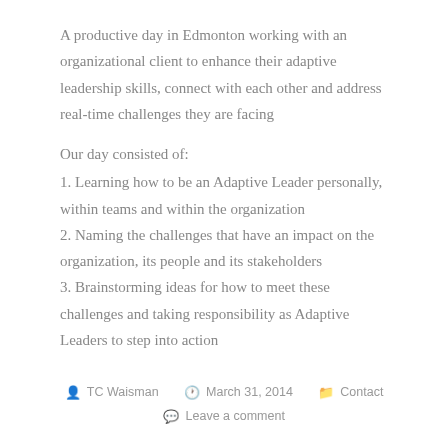A productive day in Edmonton working with an organizational client to enhance their adaptive leadership skills, connect with each other and address real-time challenges they are facing
Our day consisted of:
1. Learning how to be an Adaptive Leader personally, within teams and within the organization
2. Naming the challenges that have an impact on the organization, its people and its stakeholders
3. Brainstorming ideas for how to meet these challenges and taking responsibility as Adaptive Leaders to step into action
TC Waisman   March 31, 2014   Contact   Leave a comment